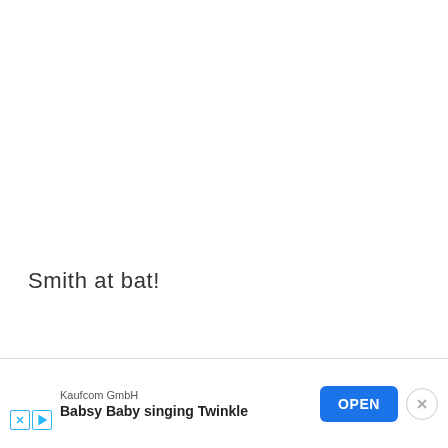Smith at bat!
[Figure (other): Advertisement banner: Kaufcom GmbH - Babsy Baby singing Twinkle, with OPEN button and close (X) button. Small X and play icons at lower left.]